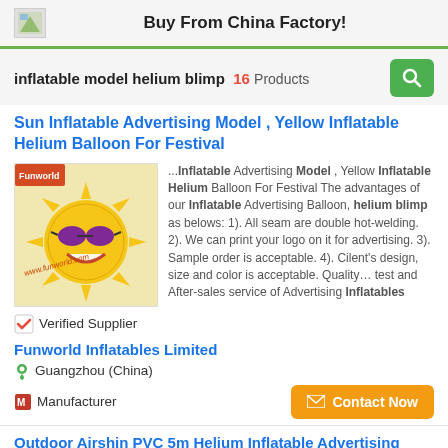Buy From China Factory!
inflatable model helium blimp  16  Products
Sun Inflatable Advertising Model , Yellow Inflatable Helium Balloon For Festival
[Figure (photo): Yellow sun-shaped inflatable with sunglasses and smile, with Funworld branding]
...Inflatable Advertising Model , Yellow Inflatable Helium Balloon For Festival The advantages of our Inflatable Advertising Balloon, helium blimp as belows: 1). All seam are double hot-welding. 2). We can print your logo on it for advertising. 3). Sample order is acceptable. 4). Cilent's design, size and color is acceptable. Quality... test and After-sales service of Advertising Inflatables
✔ Verified Supplier
Funworld Inflatables Limited
Guangzhou (China)
Manufacturer
Contact Now
Outdoor Airshin PVC 5m Helium Inflatable Advertising